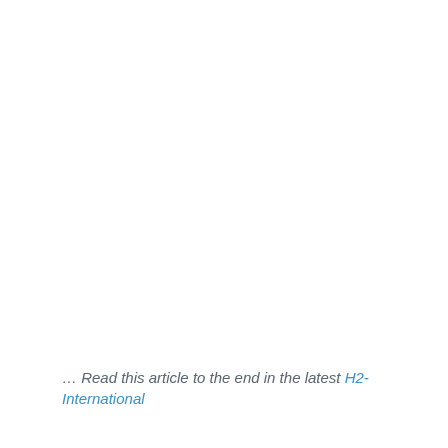… Read this article to the end in the latest H2-International